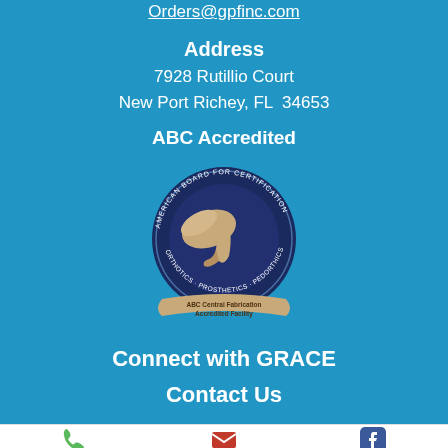Orders@gpfinc.com
Address
7928 Rutillio Court
New Port Richey, FL  34653
ABC Accredited
[Figure (logo): ABC American Board for Certification in Orthotics, Prosthetics & Pedorthics seal — circular badge with winged foot, text 'ABC Central Fabrication Accredited Facility' on a ribbon]
Connect with GRACE
Contact Us
Phone
Email
Facebook